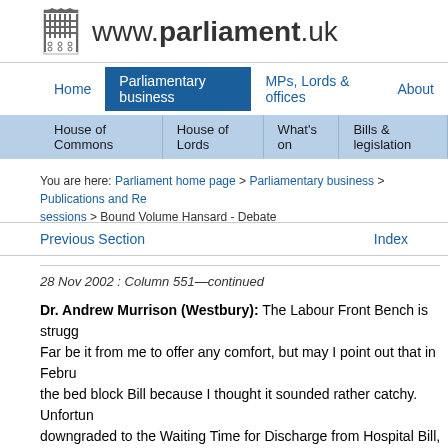www.parliament.uk
Home | Parliamentary business | MPs, Lords & offices | About
House of Commons | House of Lords | What's on | Bills & legislation
You are here: Parliament home page > Parliamentary business > Publications and Records > sessions > Bound Volume Hansard - Debate
Previous Section   Index
28 Nov 2002 : Column 551—continued
Dr. Andrew Murrison (Westbury): The Labour Front Bench is struggling. Far be it from me to offer any comfort, but may I point out that in February I introduced the bed block Bill because I thought it sounded rather catchy. Unfortunately, it was downgraded to the Waiting Time for Discharge from Hospital Bill, which, with ten-minute Bills, it ran into the sand, but in April, Ministers and Mr. and subsequently produced the Bill before us.
I would not like to be considered a professional whinger, in the words of although I would like to be fairly positive about some of the ideas that that the devil is in the detail, why the measure is doomed to fail and wh
I note that the Government have consulted very widely on the Bill...